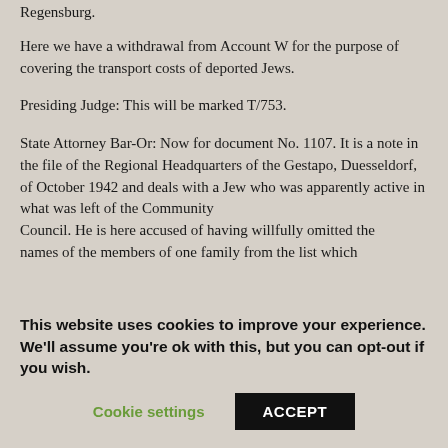Regensburg.
Here we have a withdrawal from Account W for the purpose of covering the transport costs of deported Jews.
Presiding Judge: This will be marked T/753.
State Attorney Bar-Or: Now for document No. 1107. It is a note in the file of the Regional Headquarters of the Gestapo, Duesseldorf, of October 1942 and deals with a Jew who was apparently active in what was left of the Community Council. He is here accused of having willfully omitted the names of the members of one family from the list which
This website uses cookies to improve your experience. We'll assume you're ok with this, but you can opt-out if you wish.
Cookie settings
ACCEPT